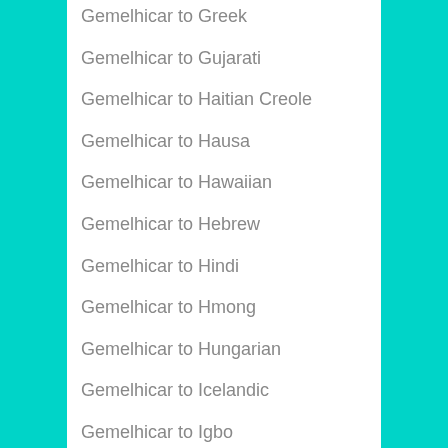Gemelhicar to Greek
Gemelhicar to Gujarati
Gemelhicar to Haitian Creole
Gemelhicar to Hausa
Gemelhicar to Hawaiian
Gemelhicar to Hebrew
Gemelhicar to Hindi
Gemelhicar to Hmong
Gemelhicar to Hungarian
Gemelhicar to Icelandic
Gemelhicar to Igbo
Gemelhicar to Indonesian
Gemelhicar to Irish
Gemelhicar to Italian